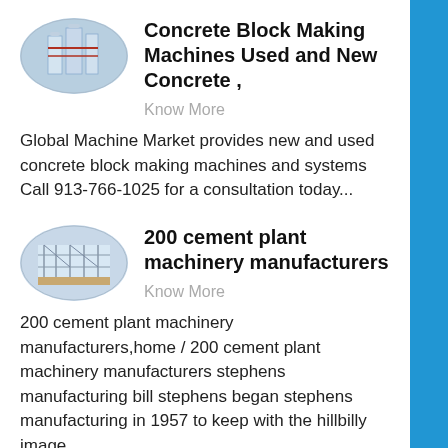[Figure (photo): Oval thumbnail image of concrete block making machine / industrial silos]
Concrete Block Making Machines Used and New Concrete ,
Know More
Global Machine Market provides new and used concrete block making machines and systems Call 913-766-1025 for a consultation today...
[Figure (photo): Oval thumbnail image of cement plant machinery / scaffolding structure]
200 cement plant machinery manufacturers
Know More
200 cement plant machinery manufacturers,home / 200 cement plant machinery manufacturers stephens manufacturing bill stephens began stephens manufacturing in 1957 to keep with the hillbilly image,